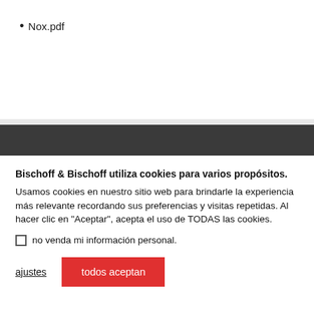• Nox.pdf
Bischoff & Bischoff utiliza cookies para varios propósitos.
Usamos cookies en nuestro sitio web para brindarle la experiencia más relevante recordando sus preferencias y visitas repetidas. Al hacer clic en "Aceptar", acepta el uso de TODAS las cookies.
no venda mi información personal.
ajustes   todos aceptan